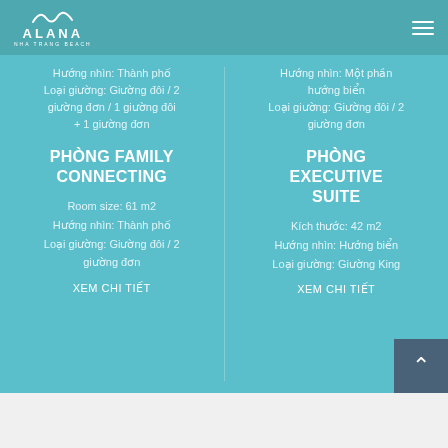ALANA NHA TRANG BEACH
Hướng nhìn: Thành phố
Loại giường: Giường đôi / 2 giường đơn / 1 giường đôi + 1 giường đơn
Hướng nhìn: Một phần hướng biển
Loại giường: Giường đôi / 2 giường đơn
PHÒNG FAMILY CONNECTING
PHÒNG EXECUTIVE SUITE
Room size: 61 m2
Hướng nhìn: Thành phố
Loại giường: Giường đôi / 2 giường đơn
Kích thước: 42 m2
Hướng nhìn: Hướng biển
Loại giường: Giường King
XEM CHI TIẾT
XEM CHI TIẾT